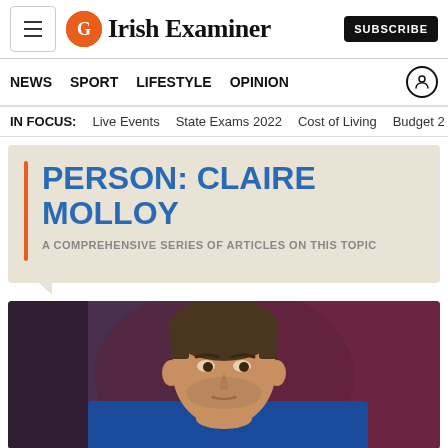Irish Examiner
NEWS  SPORT  LIFESTYLE  OPINION
IN FOCUS:  Live Events  State Exams 2022  Cost of Living  Budget 2...
PERSON: CLAIRE MOLLOY
A COMPREHENSIVE SERIES OF ARTICLES ON THIS TOPIC
[Figure (photo): Close-up photo of a male rugby player in a blue and yellow jersey, looking off to the side, with a blurred stadium background in red/maroon tones.]